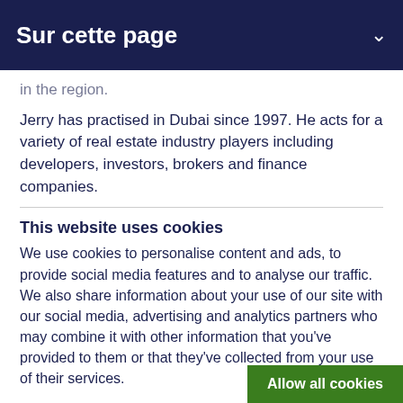Sur cette page
in the region.
Jerry has practised in Dubai since 1997. He acts for a variety of real estate industry players including developers, investors, brokers and finance companies.
This website uses cookies
We use cookies to personalise content and ads, to provide social media features and to analyse our traffic. We also share information about your use of our site with our social media, advertising and analytics partners who may combine it with other information that you've provided to them or that they've collected from your use of their services.
Cookie policy | Privacy policy | Regulatory